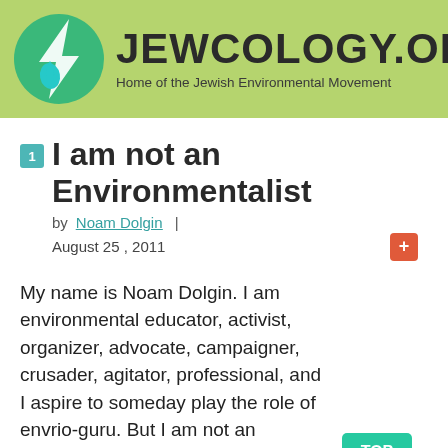[Figure (logo): Jewcology.org logo with green circle containing a lightning bolt and water drop, with the text JEWCOLOGY.ORG and tagline 'Home of the Jewish Environmental Movement' on a light green banner background]
I am not an Environmentalist
by Noam Dolgin  |  August 25 , 2011
My name is Noam Dolgin. I am environmental educator, activist, organizer, advocate, campaigner, crusader, agitator, professional, and I aspire to someday play the role of envrio-guru. But I am not an environmentalist!